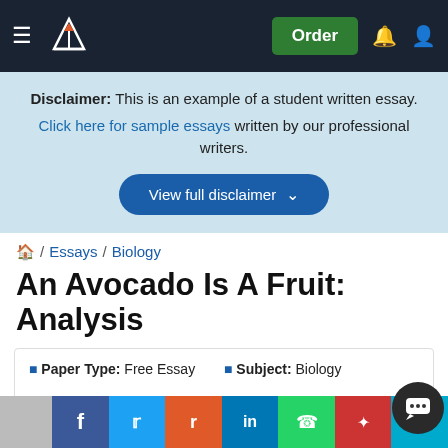Navigation bar with logo, hamburger menu, Order button, notification and account icons
Disclaimer: This is an example of a student written essay. Click here for sample essays written by our professional writers.
View full disclaimer
🏠 / Essays / Biology
An Avocado Is A Fruit: Analysis
Paper Type: Free Essay    Subject: Biology
Wordcount: 2140 words    Published: 27th Apr